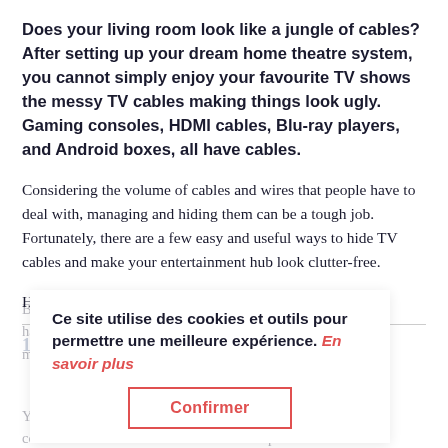Does your living room look like a jungle of cables? After setting up your dream home theatre system, you cannot simply enjoy your favourite TV shows the messy TV cables making things look ugly. Gaming consoles, HDMI cables, Blu-ray players, and Android boxes, all have cables.
Considering the volume of cables and wires that people have to deal with, managing and hiding them can be a tough job. Fortunately, there are a few easy and useful ways to hide TV cables and make your entertainment hub look clutter-free.
Here are 9 tips on how to hide tables in your home:
1. Use a Wall Mount and Duct Tape
Ce site utilise des cookies et outils pour permettre une meilleure expérience. En savoir plus
By using a TV well mounting, you can hide the one or two hanging TV cables tying them together. Then just put a paint matching the wall, and get hidden in plain sight.
Confirmer
You can use another alternative way, which is buying a cable concealer. The concealer kits come with a plastic track down